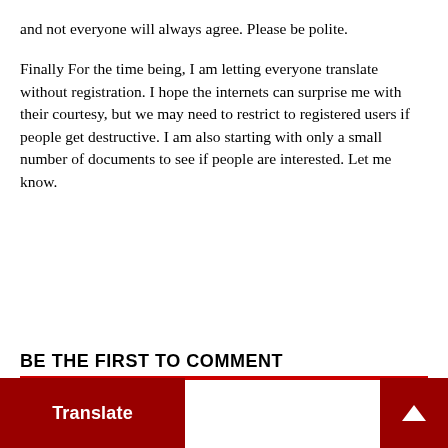and not everyone will always agree. Please be polite.
Finally For the time being, I am letting everyone translate without registration. I hope the internets can surprise me with their courtesy, but we may need to restrict to registered users if people get destructive. I am also starting with only a small number of documents to see if people are interested. Let me know.
BE THE FIRST TO COMMENT
Translate